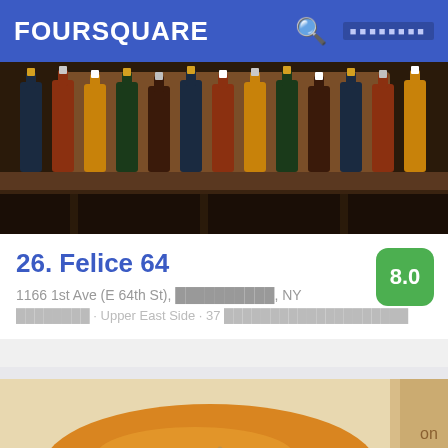FOURSQUARE
[Figure (photo): Photo of wine bottles on a dark wooden shelf in a restaurant interior]
26. Felice 64
1166 1st Ave (E 64th St), ██████████, NY
████████ · Upper East Side · 37 ████████████████████
[Figure (photo): Close-up photo of a banh mi sandwich with cucumber, carrots, and cilantro in a white container]
27. Num Pang